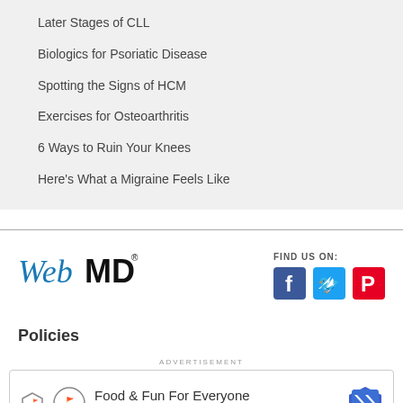Later Stages of CLL
Biologics for Psoriatic Disease
Spotting the Signs of HCM
Exercises for Osteoarthritis
6 Ways to Ruin Your Knees
Here's What a Migraine Feels Like
[Figure (logo): WebMD logo in blue italic and black bold text]
FIND US ON:
[Figure (illustration): Social media icons: Facebook (blue), Twitter (cyan), Pinterest (red)]
Policies
ADVERTISEMENT
[Figure (infographic): Advertisement banner: Topgolf - Food & Fun For Everyone with logo and navigation arrow icon]